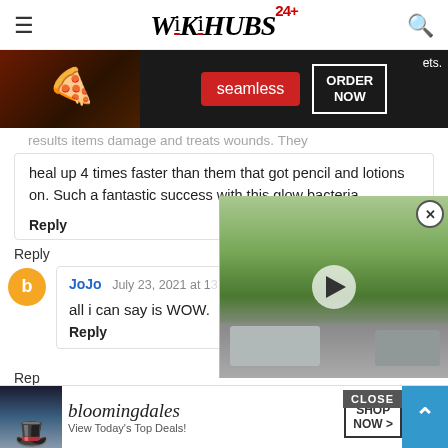WikiHubs24
[Figure (photo): Advertisement banner: seamless food delivery with pizza image, ORDER NOW button]
heal up 4 times faster than them that got pencil and lotions on. Such a fantastic success with this glow bacteria.
Reply
Reply
JoJo  July 23, 2021 at 1:...
all i can say is WOW.
Reply
[Figure (photo): Video overlay showing person standing out of SUV sunroof on suburban street with play button]
[Figure (photo): Advertisement banner: Bloomingdale's - View Today's Top Deals! with SHOP NOW button and model in hat]